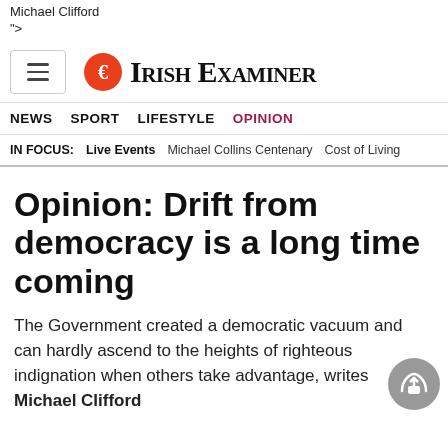Michael Clifford
">
Irish Examiner
NEWS  SPORT  LIFESTYLE  OPINION
IN FOCUS:  Live Events  Michael Collins Centenary  Cost of Living
Opinion: Drift from democracy is a long time coming
The Government created a democratic vacuum and can hardly ascend to the heights of righteous indignation when others take advantage, writes Michael Clifford